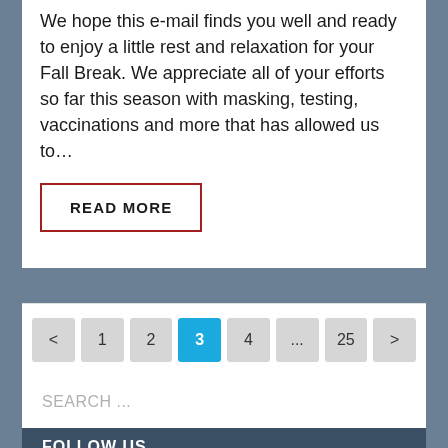We hope this e-mail finds you well and ready to enjoy a little rest and relaxation for your Fall Break. We appreciate all of your efforts so far this season with masking, testing, vaccinations and more that has allowed us to…
READ MORE
< 1 2 3 4 ... 25 >
SEARCH ...
FOLLOW US